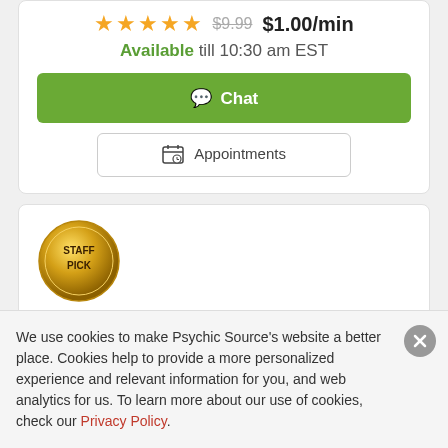★★★★★  $9.99  $1.00/min
Available till 10:30 am EST
Chat
Appointments
[Figure (illustration): Gold circular badge with text STAFF PICK]
[Figure (illustration): Loading spinner graphic — circle of grey dots]
We use cookies to make Psychic Source's website a better place. Cookies help to provide a more personalized experience and relevant information for you, and web analytics for us. To learn more about our use of cookies, check our Privacy Policy.